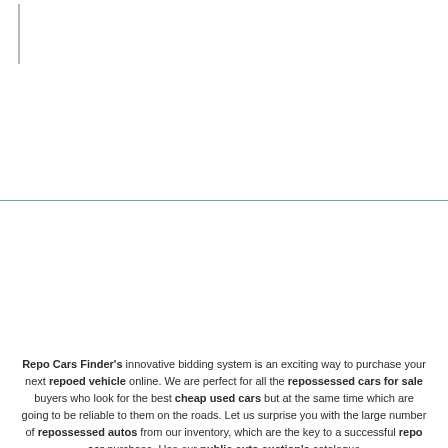Repo Cars Finder's innovative bidding system is an exciting way to purchase your next repoed vehicle online. We are perfect for all the repossessed cars for sale buyers who look for the best cheap used cars but at the same time which are going to be reliable to them on the roads. Let us surprise you with the large number of repossessed autos from our inventory, which are the key to a successful repo car purchase. Use our public auto auction's catalogue